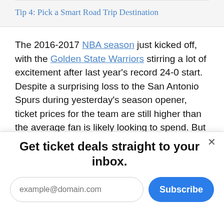Tip 4: Pick a Smart Road Trip Destination
The 2016-2017 NBA season just kicked off, with the Golden State Warriors stirring a lot of excitement after last year's record 24-0 start. Despite a surprising loss to the San Antonio Spurs during yesterday's season opener, ticket prices for the team are still higher than the average fan is likely looking to spend. But those
Get ticket deals straight to your inbox.